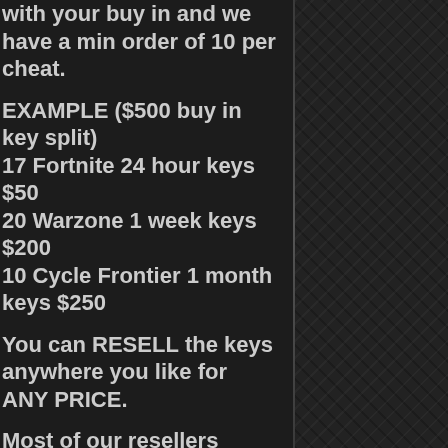with your buy in and we have a min order of 10 per cheat.
EXAMPLE ($500 buy in key split)
17 Fortnite 24 hour keys $50
20 Warzone 1 week keys $200
10 Cycle Frontier 1 month keys $250
You can RESELL the keys anywhere you like for ANY PRICE.
Most of our resellers double or triple money when they resell their keys!!!
All resellers get a RESELL HUB in "Settings" where your logins, key info, etc is always stored for you.